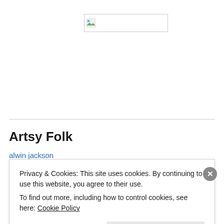[Figure (other): Broken/placeholder image icon in a bordered rectangle at the top center of the page]
Artsy Folk
alwin jackson
Privacy & Cookies: This site uses cookies. By continuing to use this website, you agree to their use.
To find out more, including how to control cookies, see here: Cookie Policy
Close and accept